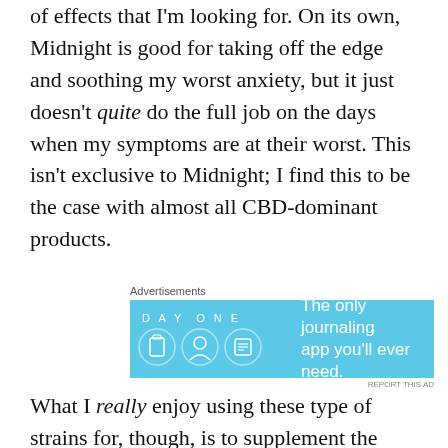of effects that I'm looking for. On its own, Midnight is good for taking off the edge and soothing my worst anxiety, but it just doesn't quite do the full job on the days when my symptoms are at their worst. This isn't exclusive to Midnight; I find this to be the case with almost all CBD-dominant products.
[Figure (other): Day One journaling app advertisement banner with blue background, app icons, and tagline 'The only journaling app you'll ever need.']
What I really enjoy using these type of strains for, though, is to supplement the high-THC products that I use. Most of you have heard of the "entourage effect" by now if you've been a medicinal cannabis patient for any